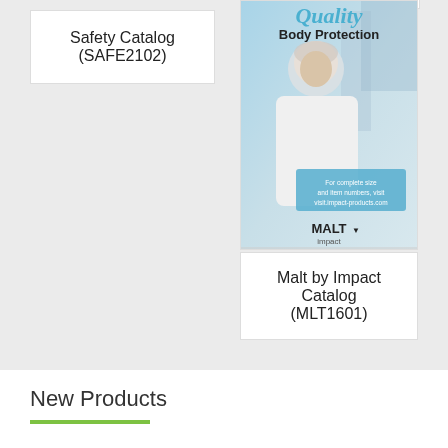Safety Catalog (SAFE2102)
[Figure (photo): Malt by Impact catalog cover showing Quality Body Protection — person in white lab coat and hairnet, with blue banner text 'Quality Body Protection' and MALT Impact logo]
Malt by Impact Catalog (MLT1601)
New Products